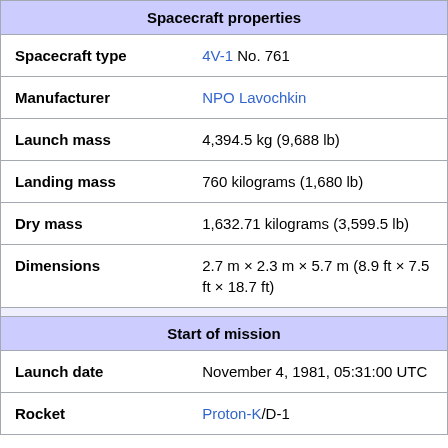| Property | Value |
| --- | --- |
| Spacecraft properties |  |
| Spacecraft type | 4V-1 No. 761 |
| Manufacturer | NPO Lavochkin |
| Launch mass | 4,394.5 kg (9,688 lb) |
| Landing mass | 760 kilograms (1,680 lb) |
| Dry mass | 1,632.71 kilograms (3,599.5 lb) |
| Dimensions | 2.7 m × 2.3 m × 5.7 m (8.9 ft × 7.5 ft × 18.7 ft) |
| Start of mission |  |
| Launch date | November 4, 1981, 05:31:00 UTC |
| Rocket | Proton-K/D-1 |